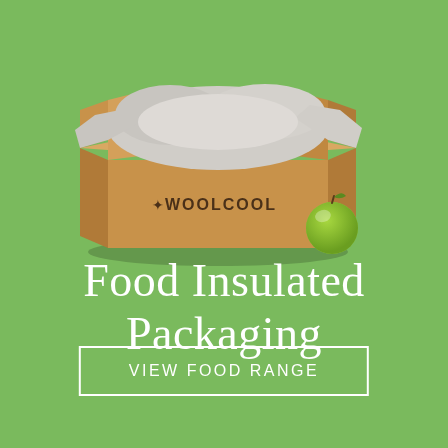[Figure (illustration): An open brown cardboard box with a grey/white fabric liner visible inside and sticking out of the top, labeled 'WOOLCOOL' on the side. A bright green apple sits to the right of the box. The background is a medium green color.]
Food Insulated Packaging
VIEW FOOD RANGE